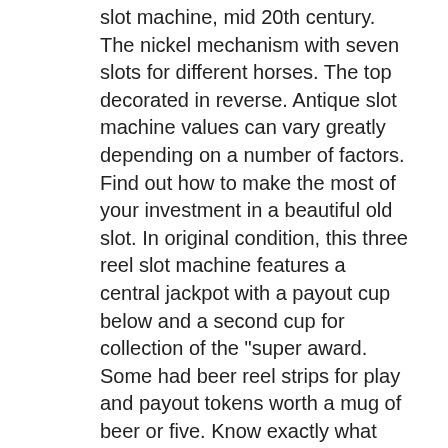slot machine, mid 20th century. The nickel mechanism with seven slots for different horses. The top decorated in reverse. Antique slot machine values can vary greatly depending on a number of factors. Find out how to make the most of your investment in a beautiful old slot. In original condition, this three reel slot machine features a central jackpot with a payout cup below and a second cup for collection of the &quot;super award. Some had beer reel strips for play and payout tokens worth a mug of beer or five. Know exactly what the value of slot machines are. 00 write for prices on all new mills, jennings, pace, buckley slots. An astonishing artifact of americana, the “dewey-chicago triplet” floor model slot machine is the only one of its kind known to exist today. We are the largest authentic mills slot machine collector in the usa. Buckley bones dice, rockola sweepstakes, or belly double ball slot machines There the